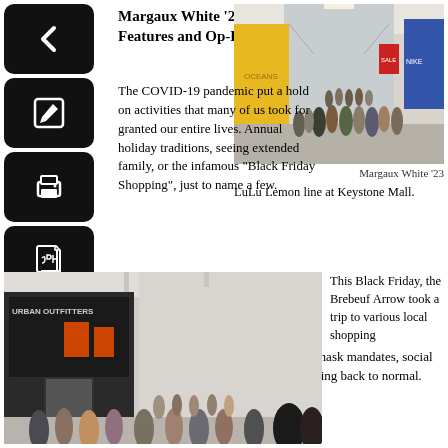Margaux White '23, News & Features and Op-Ed Editor
[Figure (photo): LuLu Lemon line at Keystone Mall - indoor mall corridor with crowds of shoppers]
Margaux White '23
LuLu Lemon line at Keystone Mall.
The COVID-19 pandemic put a hold on activities that many of us took for granted our entire lives. Annual holiday traditions, seeing extended family, or the infamous "Black Friday Shopping", just to name a few. This year things have changed. After almost two years of mask mandates, social distancing, and quarantining, things finally seem to be getting back to normal.
[Figure (photo): Crowd of shoppers outside Urban Outfitters store at a shopping mall, Black Friday]
This Black Friday, the Brebeuf Arrow took a trip to various local shopping